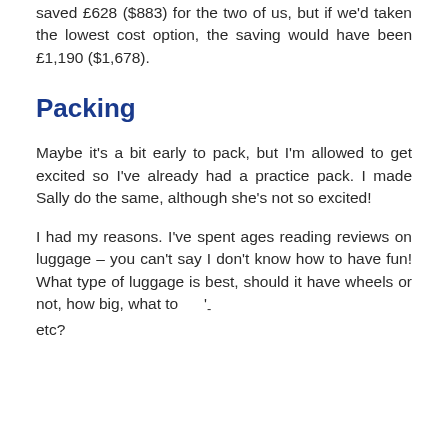saved £628 ($883) for the two of us, but if we'd taken the lowest cost option, the saving would have been £1,190 ($1,678).
Packing
Maybe it's a bit early to pack, but I'm allowed to get excited so I've already had a practice pack. I made Sally do the same, although she's not so excited!
I had my reasons. I've spent ages reading reviews on luggage – you can't say I don't know how to have fun! What type of luggage is best, should it have wheels or not, how big, what to pack, etc?